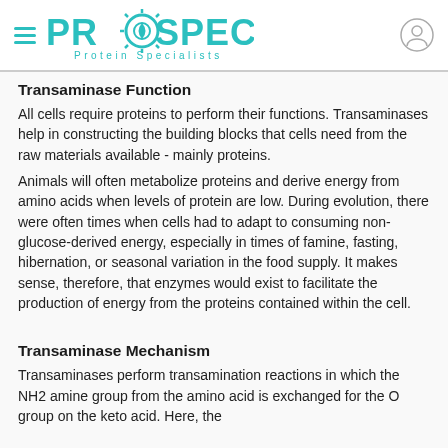PROSPEC Protein Specialists
Transaminase Function
All cells require proteins to perform their functions. Transaminases help in constructing the building blocks that cells need from the raw materials available - mainly proteins.
Animals will often metabolize proteins and derive energy from amino acids when levels of protein are low. During evolution, there were often times when cells had to adapt to consuming non-glucose-derived energy, especially in times of famine, fasting, hibernation, or seasonal variation in the food supply. It makes sense, therefore, that enzymes would exist to facilitate the production of energy from the proteins contained within the cell.
Transaminase Mechanism
Transaminases perform transamination reactions in which the NH2 amine group from the amino acid is exchanged for the O group on the keto acid. Here, the